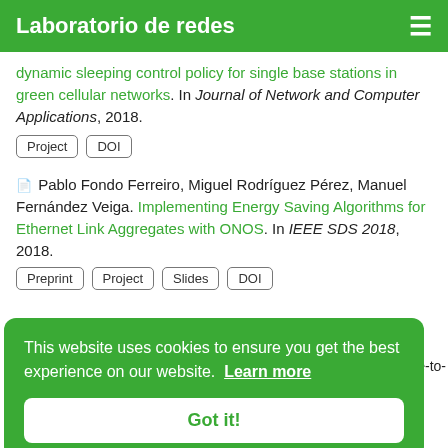Laboratorio de redes
dynamic sleeping control policy for single base stations in green cellular networks. In Journal of Network and Computer Applications, 2018.
Project | DOI
Pablo Fondo Ferreiro, Miguel Rodríguez Pérez, Manuel Fernández Veiga. Implementing Energy Saving Algorithms for Ethernet Link Aggregates with ONOS. In IEEE SDS 2018, 2018.
Preprint | Project | Slides | DOI
This website uses cookies to ensure you get the best experience on our website. Learn more
Got it!
The 14th International Conference on Wireless and Mobile Computing,